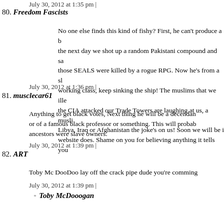July 30, 2012 at 1:35 pm |
80. Freedom Fascists
No one else finds this kind of fishy? First, he can't produce a b the next day we shot up a random Pakistani compound and sa those SEALS were killed by a rogue RPG. Now he's from a sl working class, keep sinking the ship! The muslims that we ille the CIA attacked our Trade Towers are laughing at us, a musli Libya, Iraq or Afghanistan the joke's on us! Soon we will be i website does. Shame on you for believing anything it tells you
July 30, 2012 at 1:36 pm |
81. musclecar61
Anything to get black votes, Next thing he will be a decendan or of a famous black professor or something. This will probab ancestors were slave owners.
July 30, 2012 at 1:39 pm |
82. ART
Toby Mc DooDoo lay off the crack pipe dude you're comming
July 30, 2012 at 1:39 pm |
Toby McDooogan